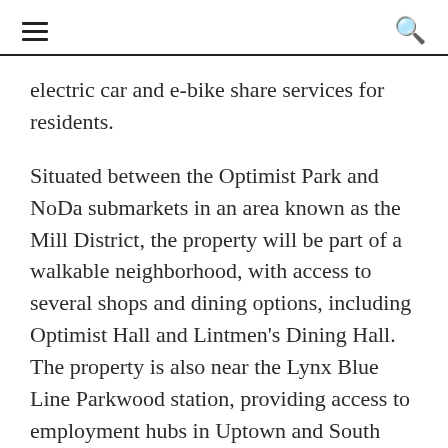≡  🔍
electric car and e-bike share services for residents.
Situated between the Optimist Park and NoDa submarkets in an area known as the Mill District, the property will be part of a walkable neighborhood, with access to several shops and dining options, including Optimist Hall and Lintmen's Dining Hall. The property is also near the Lynx Blue Line Parkwood station, providing access to employment hubs in Uptown and South End.
Thanks to an influx of remote workers, a more affordable cost of living, and solid economic